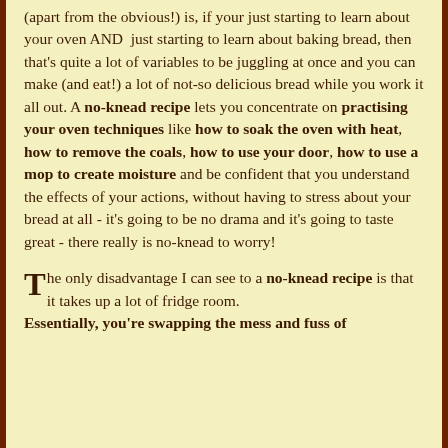(apart from the obvious!) is, if your just starting to learn about your oven AND  just starting to learn about baking bread, then that's quite a lot of variables to be juggling at once and you can make (and eat!) a lot of not-so delicious bread while you work it all out. A no-knead recipe lets you concentrate on practising your oven techniques like how to soak the oven with heat, how to remove the coals, how to use your door, how to use a mop to create moisture and be confident that you understand the effects of your actions, without having to stress about your bread at all - it's going to be no drama and it's going to taste great - there really is no-knead to worry!
The only disadvantage I can see to a no-knead recipe is that it takes up a lot of fridge room. Essentially, you're swapping the mess and fuss of